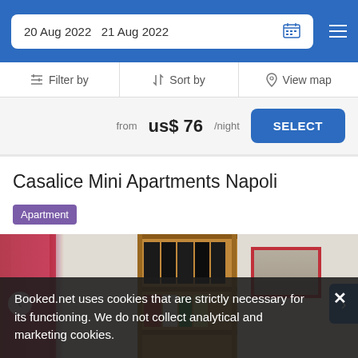20 Aug 2022   21 Aug 2022
Filter by   Sort by   View map
from us$ 76/night   SELECT
Casalice Mini Apartments Napoli
Apartment
[Figure (photo): Interior room photo showing bookshelves with dark and colorful books, red curtain, window with natural light, wall with framed picture with red border]
Booked.net uses cookies that are strictly necessary for its functioning. We do not collect analytical and marketing cookies.